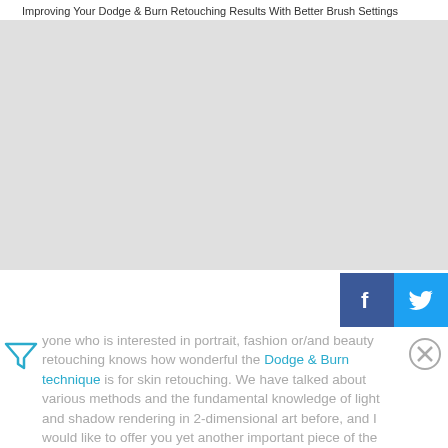Improving Your Dodge & Burn Retouching Results With Better Brush Settings
[Figure (photo): Large image area showing Dodge & Burn retouching example, rendered as grey placeholder]
[Figure (infographic): Facebook and Twitter share buttons]
[Figure (other): Filter/funnel icon on the left side]
[Figure (other): Close (X) icon on the right side]
yone who is interested in portrait, fashion or/and beauty retouching knows how wonderful the Dodge & Burn technique is for skin retouching. We have talked about various methods and the fundamental knowledge of light and shadow rendering in 2-dimensional art before, and I would like to offer you yet another important piece of the D&Bpuzzle - the brush settings